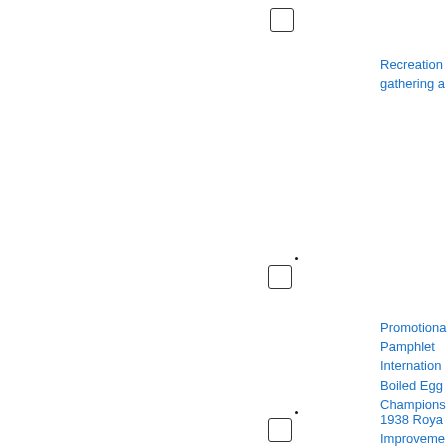[Figure (other): Checkbox (unchecked) at top center]
Recreational gathering a...
[Figure (other): Dot and checkbox (unchecked) at middle center]
Promotional Pamphlet International Boiled Egg Championships...
[Figure (other): Dot and checkbox (unchecked) at lower center]
1938 Royal Improvement...